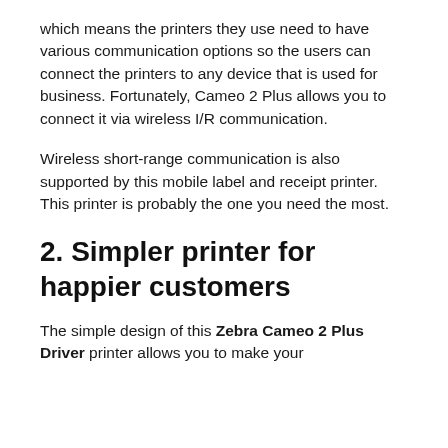which means the printers they use need to have various communication options so the users can connect the printers to any device that is used for business. Fortunately, Cameo 2 Plus allows you to connect it via wireless I/R communication.
Wireless short-range communication is also supported by this mobile label and receipt printer. This printer is probably the one you need the most.
2. Simpler printer for happier customers
The simple design of this Zebra Cameo 2 Plus Driver printer allows you to make your